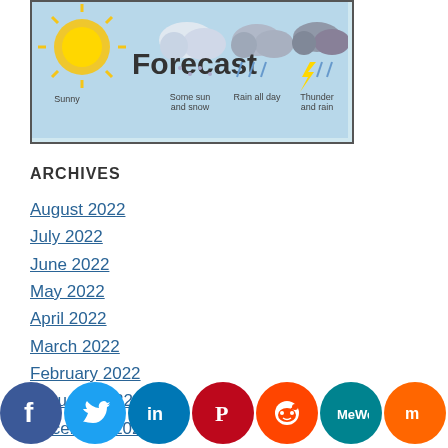[Figure (illustration): Weather forecast image showing sunny, some sun and snow, rain all day, thunder and rain icons with text 'Forecast']
ARCHIVES
August 2022
July 2022
June 2022
May 2022
April 2022
March 2022
February 2022
January 2022
December 2021
[Figure (infographic): Social media sharing buttons: Facebook, Twitter, LinkedIn, Pinterest, Reddit, MeWe, Mix, WhatsApp, More]